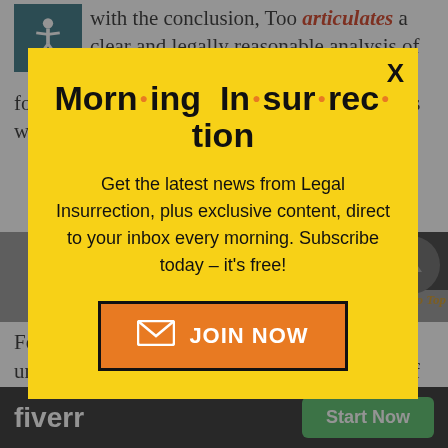with the conclusion, Too articulates a clear and legally reasonable analysis of how this country should have dealt — for the first time — with non-enemy combatants who wear no uniform and obey no country:
[Figure (screenshot): Modal popup for Morning Insurrection email newsletter subscription on Legal Insurrection website. Yellow background with bold title 'Morning Insurrection', subscription text, and orange JOIN NOW button.]
For the... universal jurisdiction has become the weapon of
[Figure (screenshot): Fiverr advertisement banner with dark background showing Fiverr logo and green Start Now button.]